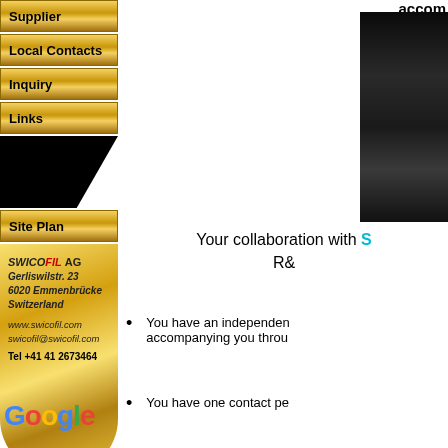[Figure (screenshot): Left navigation column with gold gradient buttons: Supplier, Local Contacts, Inquiry, Links, black trapezoid shape, Site Plan button, gold card with Swicofil AG contact info, and Google logo at bottom]
accom
[Figure (photo): Dark product photo on right side, showing a dark cylindrical or spool-like object]
Your collaboration with S R&
You have an independent accompanying you throu
You have one contact pe